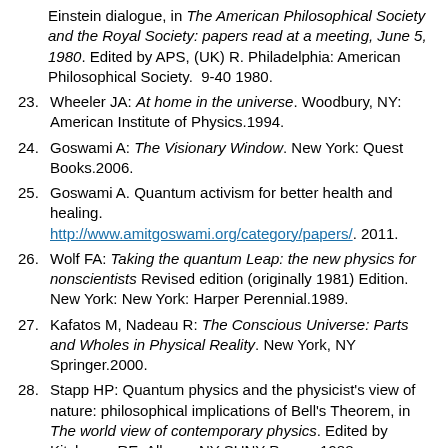Einstein dialogue, in The American Philosophical Society and the Royal Society: papers read at a meeting, June 5, 1980. Edited by APS, (UK) R. Philadelphia: American Philosophical Society.  9-40 1980.
23. Wheeler JA: At home in the universe. Woodbury, NY: American Institute of Physics.1994.
24. Goswami A: The Visionary Window. New York: Quest Books.2006.
25. Goswami A. Quantum activism for better health and healing. http://www.amitgoswami.org/category/papers/. 2011.
26. Wolf FA: Taking the quantum Leap: the new physics for nonscientists Revised edition (originally 1981) Edition. New York: New York: Harper Perennial.1989.
27. Kafatos M, Nadeau R: The Conscious Universe: Parts and Wholes in Physical Reality. New York, NY Springer.2000.
28. Stapp HP: Quantum physics and the physicist's view of nature: philosophical implications of Bell's Theorem, in The world view of contemporary physics. Edited by Kitchener RE. Albany, NY SUNY Press.  1988.